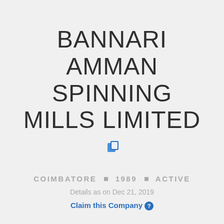BANNARI AMMAN SPINNING MILLS LIMITED
COIMBATORE ■ 1989 ■ ACTIVE
Details as on Dec 21, 2019
Claim this Company ?
COMPANY INTRODUCTION
BANNARI AMMAN SPINNING MILLS LIMITED is a